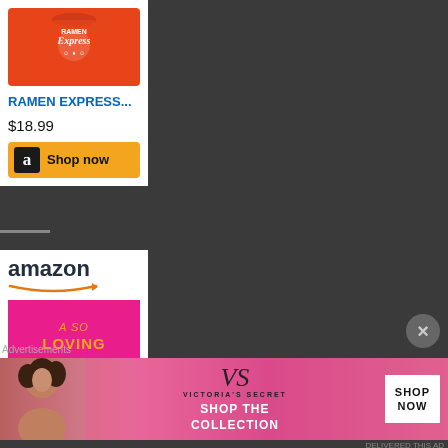[Figure (screenshot): Amazon product card for Ramen Express with orange cup image, blue product title 'RAMEN EXPRESS...', price $18.99, and yellow 'Shop now' button with Amazon logo]
[Figure (advertisement): Amazon advertisement card with large amazon logo and smile arrow, showing a pink book cover 'A SO LOVING TABLE']
[Figure (advertisement): Victoria's Secret banner advertisement with model, VS logo, 'SHOP THE COLLECTION' text, and 'SHOP NOW' button]